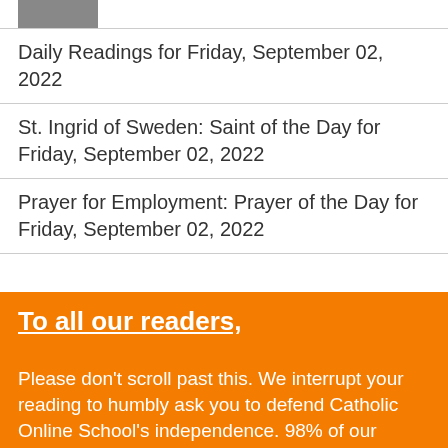[Figure (photo): Small photo thumbnail at top of page]
Daily Readings for Friday, September 02, 2022
St. Ingrid of Sweden: Saint of the Day for Friday, September 02, 2022
Prayer for Employment: Prayer of the Day for Friday, September 02, 2022
To all our readers,
Please don't scroll past this. We interrupt your reading to humbly ask you to defend Catholic Online School's independence. 98% of our readers don't give; they look the other way. If you are an exceptional reader who has already donated, we sincerely thank you. If you donate just $10.00, or whatever you can, Catholic